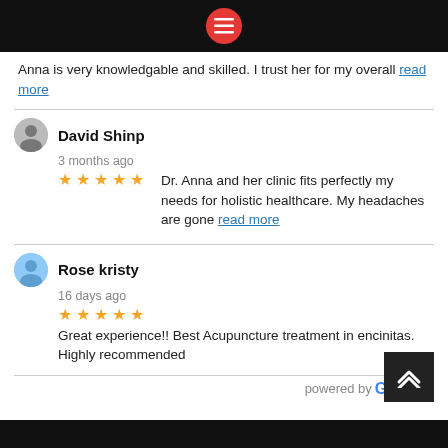Menu navigation bar
Anna is very knowledgable and skilled. I trust her for my overall read more
David Shinp
3 months ago
★★★★★ Dr. Anna and her clinic fits perfectly my needs for holistic healthcare. My headaches are gone read more
Rose kristy
16 days ago
★★★★★ Great experience!! Best Acupuncture treatment in encinitas. Highly recommended
powered by Google